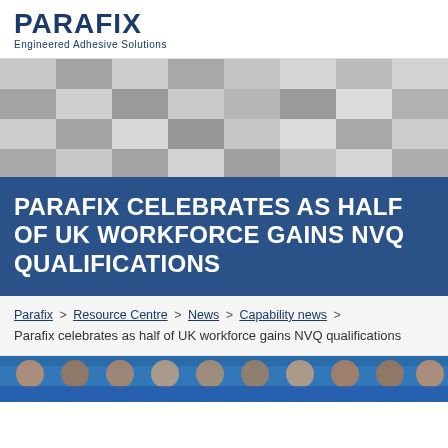[Figure (logo): Parafix logo with text 'PARAFIX' in bold dark blue and subtitle 'Engineered Adhesive Solutions']
[Figure (illustration): Abstract blurred checkerboard pattern in grey and white tones forming a decorative hero banner]
PARAFIX CELEBRATES AS HALF OF UK WORKFORCE GAINS NVQ QUALIFICATIONS
Parafix > Resource Centre > News > Capability news > Parafix celebrates as half of UK workforce gains NVQ qualifications
[Figure (photo): Partial view of a group photo of people, bottom strip of the page]